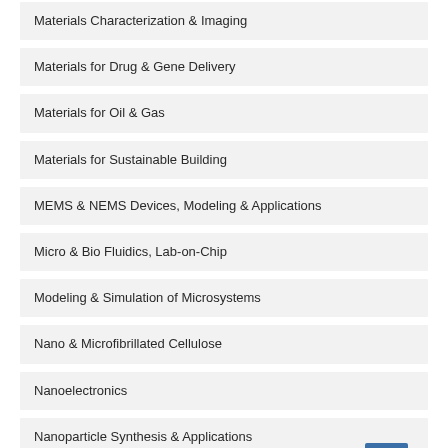Materials Characterization & Imaging
Materials for Drug & Gene Delivery
Materials for Oil & Gas
Materials for Sustainable Building
MEMS & NEMS Devices, Modeling & Applications
Micro & Bio Fluidics, Lab-on-Chip
Modeling & Simulation of Microsystems
Nano & Microfibrillated Cellulose
Nanoelectronics
Nanoparticle Synthesis & Applications
Personal & Home Care, Food & Agriculture
Photonic Materials & Devices
Printed & Flexible Electronics